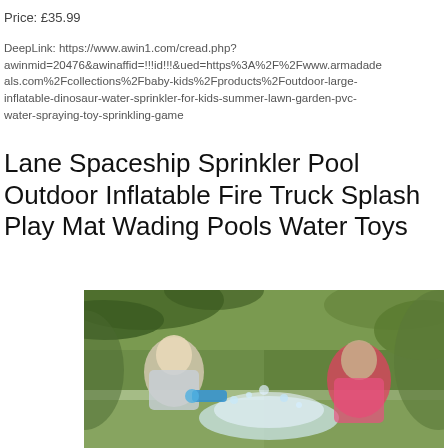Price: £35.99
DeepLink: https://www.awin1.com/cread.php?awinmid=20476&awinaffid=!!!id!!!&ued=https%3A%2F%2Fwww.armadadeals.com%2Fcollections%2Fbaby-kids%2Fproducts%2Foutdoor-large-inflatable-dinosaur-water-sprinkler-for-kids-summer-lawn-garden-pvc-water-spraying-toy-sprinkling-game
Lane Spaceship Sprinkler Pool Outdoor Inflatable Fire Truck Splash Play Mat Wading Pools Water Toys
[Figure (photo): Two people playing with water sprinklers outdoors in a lush tropical garden setting. A man on the left and a person on the right are splashing water at each other with colorful water toys, surrounded by green palm trees and tropical foliage.]